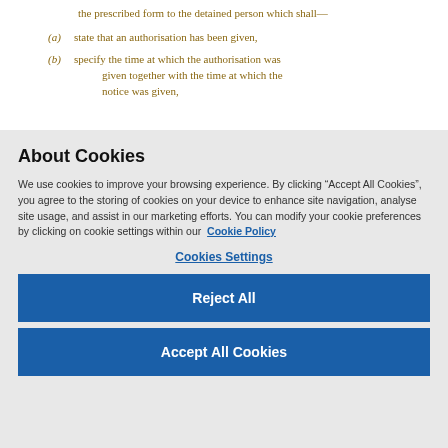the prescribed form to the detained person which shall—
(a) state that an authorisation has been given,
(b) specify the time at which the authorisation was given together with the time at which the notice was given,
About Cookies
We use cookies to improve your browsing experience. By clicking “Accept All Cookies”, you agree to the storing of cookies on your device to enhance site navigation, analyse site usage, and assist in our marketing efforts. You can modify your cookie preferences by clicking on cookie settings within our Cookie Policy
Cookies Settings
Reject All
Accept All Cookies